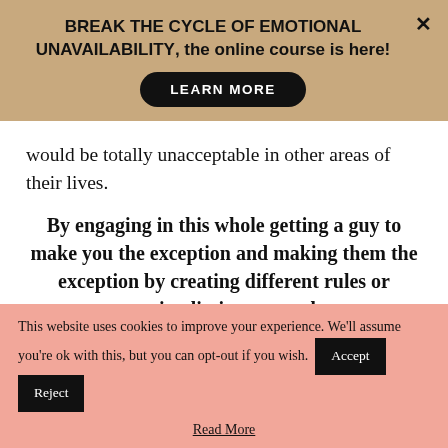BREAK THE CYCLE OF EMOTIONAL UNAVAILABILITY, the online course is here!
[Figure (other): LEARN MORE button - black rounded rectangle button with white text]
would be totally unacceptable in other areas of their lives.
By engaging in this whole getting a guy to make you the exception and making them the exception by creating different rules or removing limits, you end up
This website uses cookies to improve your experience. We'll assume you're ok with this, but you can opt-out if you wish.
Read More